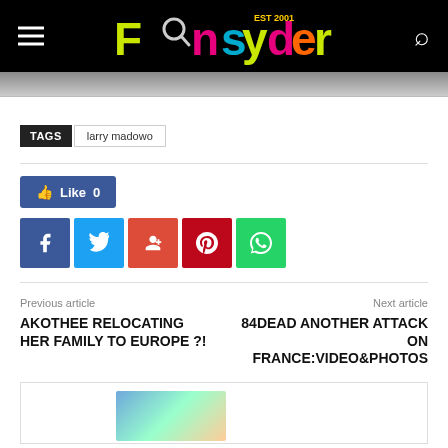The Insyder — EST 2001
TAGS  larry madowo
[Figure (infographic): Social sharing buttons: Like 0 (Facebook blue), Facebook (f), Twitter (bird), Google+, Pinterest, WhatsApp]
Previous article
AKOTHEE RELOCATING HER FAMILY TO EUROPE ?!
Next article
84DEAD ANOTHER ATTACK ON FRANCE:VIDEO&PHOTOS
[Figure (photo): Partial bottom card with photo thumbnail visible]